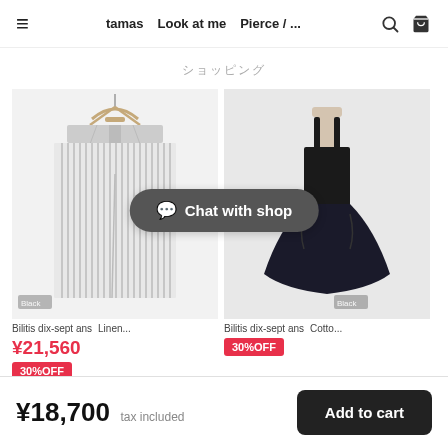≡  tamas  Look at me  Pierce / ...  🔍  🛒
ショッピング
[Figure (photo): Striped wide-leg pants on a hanger, light gray/white stripes, with 'Black' label overlay]
Bilitis dix-sept ans   Linen...
¥21,560
30%OFF
[Figure (photo): Black sleeveless long dress on a mannequin, with 'Black' label overlay]
Bilitis dix-sept ans   Cotto...
¥18,700  tax included   Add to cart